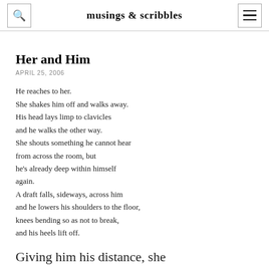musings & scribbles
Her and Him
APRIL 25, 2006
He reaches to her.
She shakes him off and walks away.
His head lays limp to clavicles
and he walks the other way.
She shouts something he cannot hear
from across the room, but
he's already deep within himself
again.
A draft falls, sideways, across him
and he lowers his shoulders to the floor,
knees bending so as not to break,
and his heels lift off.
Giving him his distance, she
feels she's done right by him.